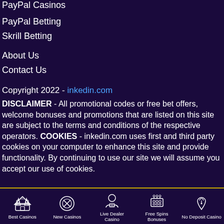PayPal Casinos
PayPal Betting
Skrill Betting
About Us
Contact Us
Copyright 2022 - inkedin.com
DISCLAIMER - All promotional codes or free bet offers, welcome bonuses and promotions that are listed on this site are subject to the terms and conditions of the respective operators. COOKIES - inkedin.com uses first and third party cookies on your computer to enhance this site and provide functionality. By continuing to use our site we will assume you accept our use of cookies.
Best Casinos | New Casinos | Live Dealer Casino | Free Spins Bonuses | No Deposit Casino